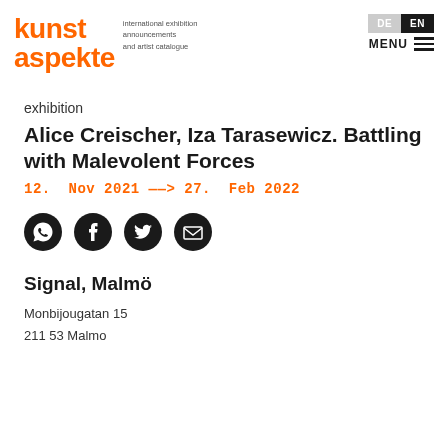kunst aspekte — international exhibition announcements and artist catalogue — DE | EN | MENU
exhibition
Alice Creischer, Iza Tarasewicz. Battling with Malevolent Forces
12. Nov 2021 ——> 27. Feb 2022
[Figure (infographic): Four social sharing icons: WhatsApp, Facebook, Twitter, Email]
Signal, Malmö
Monbijougatan 15
211 53 Malmo